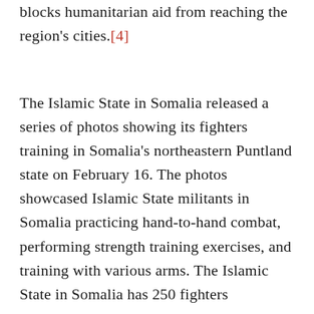blocks humanitarian aid from reaching the region's cities.[4]
The Islamic State in Somalia released a series of photos showing its fighters training in Somalia's northeastern Puntland state on February 16. The photos showcased Islamic State militants in Somalia practicing hand-to-hand combat, performing strength training exercises, and training with various arms. The Islamic State in Somalia has 250 fighters